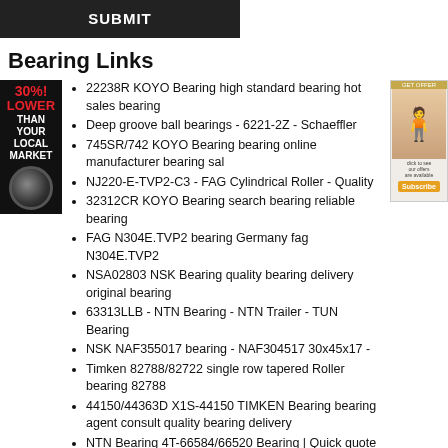SUBMIT
Bearing Links
22238R KOYO Bearing high standard bearing hot sales bearing
Deep groove ball bearings - 6221-2Z - Schaeffler
745SR/742 KOYO Bearing bearing online manufacturer bearing sal
NJ220-E-TVP2-C3 - FAG Cylindrical Roller - Quality
32312CR KOYO Bearing search bearing reliable bearing
FAG N304E.TVP2 bearing Germany fag N304E.TVP2
NSA02803 NSK Bearing quality bearing delivery original bearing
63313LLB - NTN Bearing - NTN Trailer - TUN Bearing
NSK NAF355017 bearing - NAF304517 30x45x17 -
Timken 82788/82722 single row tapered Roller bearing 82788
44150/44363D X1S-44150 TIMKEN Bearing bearing agent consult quality bearing delivery
NTN Bearing 4T-66584/66520 Bearing | Quick quote Croatia
【TIMKEN EE170975/171450 bearing in Tuvalu】Best Price And 5
3207-BD-TVH FAG Bearing brand bearing supply high standard bearing
34BWD04B NSK Bearing brand bearing supply be
110RT03 Timken E 215 mm Cylindrical roller bearings